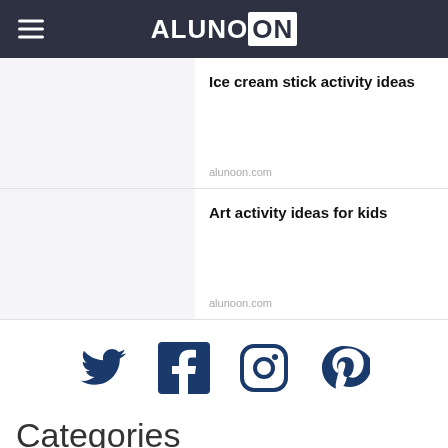ALUNOON
Ice cream stick activity ideas
alunoon.com
Art activity ideas for kids
alunoon.com
[Figure (infographic): Social media icons: Twitter, Facebook, Instagram, Pinterest]
Categories